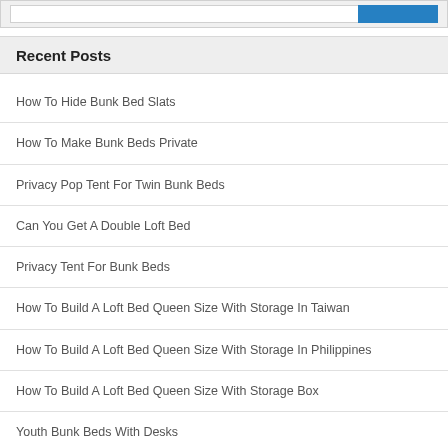Recent Posts
How To Hide Bunk Bed Slats
How To Make Bunk Beds Private
Privacy Pop Tent For Twin Bunk Beds
Can You Get A Double Loft Bed
Privacy Tent For Bunk Beds
How To Build A Loft Bed Queen Size With Storage In Taiwan
How To Build A Loft Bed Queen Size With Storage In Philippines
How To Build A Loft Bed Queen Size With Storage Box
Youth Bunk Beds With Desks
How To Make A Canopy Bed In Minecraft
Cool Bunk Beds Australia